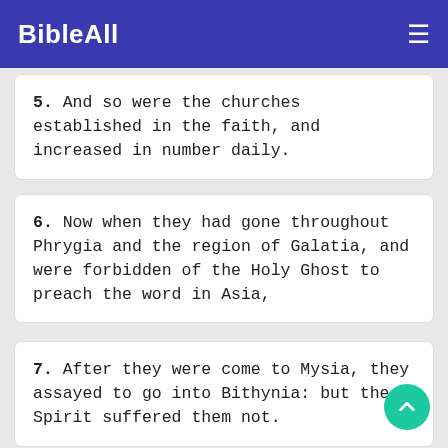BibleAll
5. And so were the churches established in the faith, and increased in number daily.
6. Now when they had gone throughout Phrygia and the region of Galatia, and were forbidden of the Holy Ghost to preach the word in Asia,
7. After they were come to Mysia, they assayed to go into Bithynia: but the Spirit suffered them not.
8. And they passing by Mysia came down